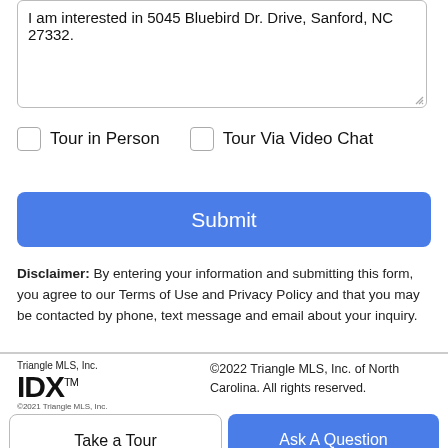I am interested in 5045 Bluebird Dr. Drive, Sanford, NC 27332.
Tour in Person  Tour Via Video Chat
Submit
Disclaimer: By entering your information and submitting this form, you agree to our Terms of Use and Privacy Policy and that you may be contacted by phone, text message and email about your inquiry.
Triangle MLS, Inc. IDX™ ©2021 Triangle MLS, Inc.
©2022 Triangle MLS, Inc. of North Carolina. All rights reserved.
Take a Tour
Ask A Question